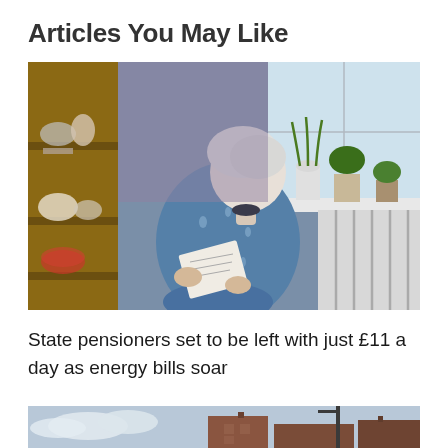Articles You May Like
[Figure (photo): Elderly woman with white hair wearing a blue patterned top, crouching beside a white radiator near a window, holding a paper bill or document. Potted plants on the windowsill behind her. Wooden shelving with china cups visible on the left.]
State pensioners set to be left with just £11 a day as energy bills soar
[Figure (photo): Partial photo of a building exterior with red brick and rooftops, partly cut off at the bottom of the page.]